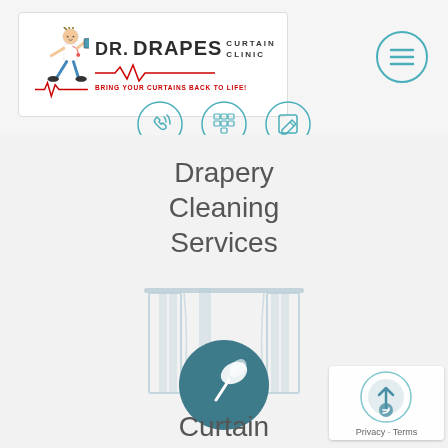[Figure (logo): Dr. Drapes Curtain Clinic logo with cartoon doctor character, heartbeat line, and tagline 'Bring Your Curtains Back To Life!']
[Figure (infographic): Navigation icons: phone/call icon, keypad/SMS icon, and edit/contact icon, each in a teal circle outline]
[Figure (infographic): Hamburger menu icon in a teal circle outline on the right side of the header]
Drapery Cleaning Services
[Figure (illustration): Curtain cleaning service illustration: curtain/drapes outline with a teal circle containing a feather duster icon in the center]
Curtain Cleaning